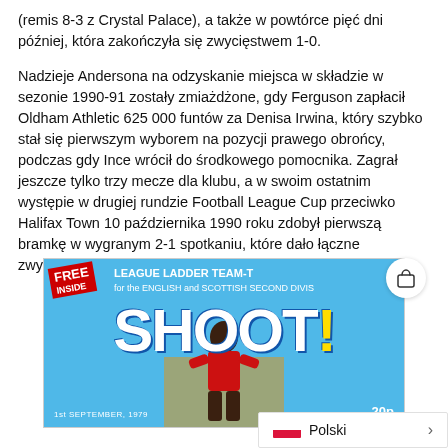(remis 8-3 z Crystal Palace), a także w powtórce pięć dni później, która zakończyła się zwycięstwem 1-0.
Nadzieje Andersona na odzyskanie miejsca w składzie w sezonie 1990-91 zostały zmiażdżone, gdy Ferguson zapłacił Oldham Athletic 625 000 funtów za Denisa Irwina, który szybko stał się pierwszym wyborem na pozycji prawego obrońcy, podczas gdy Ince wrócił do środkowego pomocnika. Zagrał jeszcze tylko trzy mecze dla klubu, a w swoim ostatnim występie w drugiej rundzie Football League Cup przeciwko Halifax Town 10 października 1990 roku zdobył pierwszą bramkę w wygranym 2-1 spotkaniu, które dało łączne zwycięstwo 5-2.
[Figure (photo): Cover of SHOOT! magazine dated 1st September 1979, price 20p. Features 'FREE INSIDE - LEAGUE LADDER TEAM-T... for the ENGLISH and SCOTTISH SECOND DIVIS...' header text. Large SHOOT! title in white with yellow exclamation mark. A Black football player visible at the bottom.]